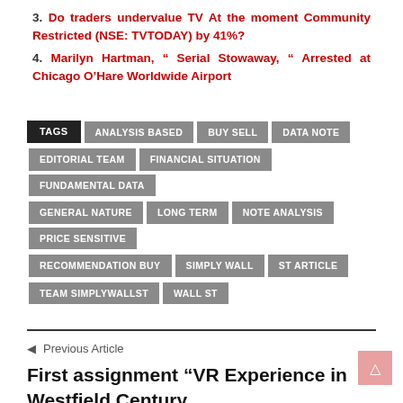3. Do traders undervalue TV At the moment Community Restricted (NSE: TVTODAY) by 41%?
4. Marilyn Hartman, “ Serial Stowaway, “ Arrested at Chicago O’Hare Worldwide Airport
TAGS | ANALYSIS BASED | BUY SELL | DATA NOTE | EDITORIAL TEAM | FINANCIAL SITUATION | FUNDAMENTAL DATA | GENERAL NATURE | LONG TERM | NOTE ANALYSIS | PRICE SENSITIVE | RECOMMENDATION BUY | SIMPLY WALL | ST ARTICLE | TEAM SIMPLYWALLST | WALL ST
Previous Article
First assignment “VR Experience in Westfield Century …